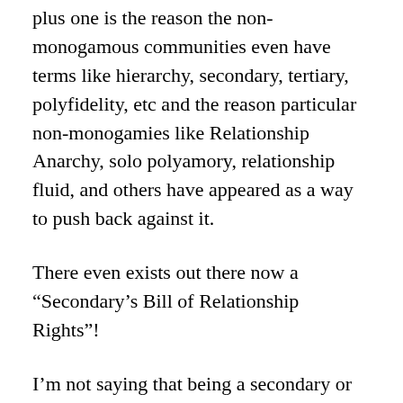plus one is the reason the non-monogamous communities even have terms like hierarchy, secondary, tertiary, polyfidelity, etc and the reason particular non-monogamies like Relationship Anarchy, solo polyamory, relationship fluid, and others have appeared as a way to push back against it.
There even exists out there now a “Secondary’s Bill of Relationship Rights”!
I’m not saying that being a secondary or wanting a polyfidelitous relationship is wrong or worse, just that it took so much pain, anguish, jealousy, guilt, and mistakes to get to the point where the community is finally openly discussing how these attitudes can be